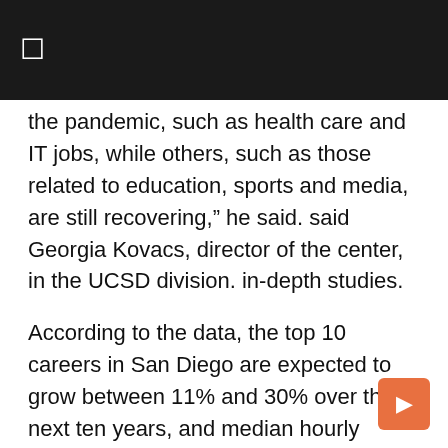the pandemic, such as health care and IT jobs, while others, such as those related to education, sports and media, are still recovering,” he said. said Georgia Kovacs, director of the center, in the UCSD division. in-depth studies.
According to the data, the top 10 careers in San Diego are expected to grow between 11% and 30% over the next ten years, and median hourly wages for these occupations currently range from $23 to $58 per hour.
San Diego’s leading occupation is medical and health services managers with an expected potential workforce growth of 30% by 2031.